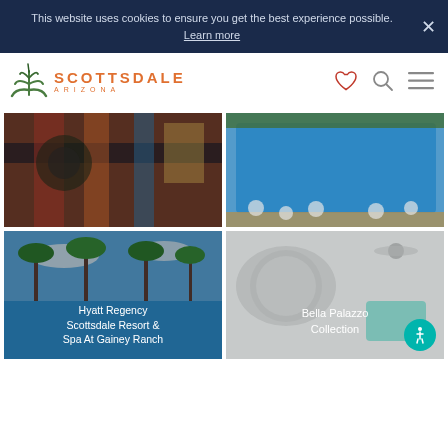This website uses cookies to ensure you get the best experience possible. Learn more
[Figure (logo): Scottsdale Arizona agave plant logo with orange text]
[Figure (photo): Colorful Native American textiles and crafts]
[Figure (photo): Aerial view of a resort pool with lounge chairs and umbrellas]
[Figure (photo): Hyatt Regency Scottsdale Resort and Spa at Gainey Ranch with palm trees and pool]
Hyatt Regency Scottsdale Resort & Spa At Gainey Ranch
[Figure (photo): Bella Palazzo Collection modern interior room]
Bella Palazzo Collection